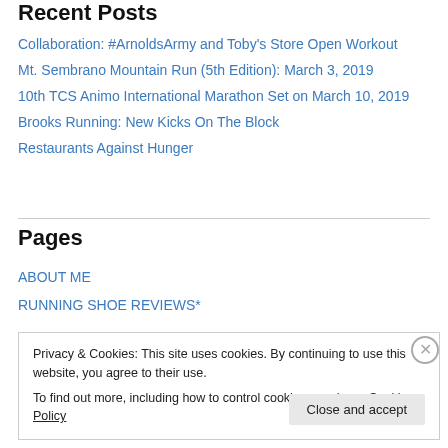Recent Posts
Collaboration: #ArnoldsArmy and Toby's Store Open Workout
Mt. Sembrano Mountain Run (5th Edition): March 3, 2019
10th TCS Animo International Marathon Set on March 10, 2019
Brooks Running: New Kicks On The Block
Restaurants Against Hunger
Pages
ABOUT ME
RUNNING SHOE REVIEWS*
Privacy & Cookies: This site uses cookies. By continuing to use this website, you agree to their use.
To find out more, including how to control cookies, see here: Cookie Policy